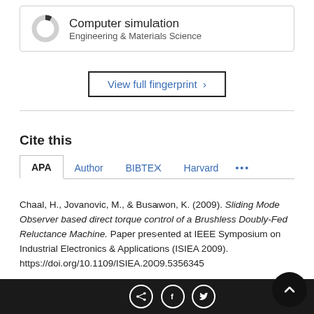[Figure (donut-chart): Small donut chart showing a mostly-empty ring with a small dark filled segment, representing 'Computer simulation' in Engineering & Materials Science]
Computer simulation
Engineering & Materials Science
View full fingerprint >
Cite this
APA   Author   BIBTEX   Harvard   ...
Chaal, H., Jovanovic, M., & Busawon, K. (2009). Sliding Mode Observer based direct torque control of a Brushless Doubly-Fed Reluctance Machine. Paper presented at IEEE Symposium on Industrial Electronics & Applications (ISIEA 2009). https://doi.org/10.1109/ISIEA.2009.5356345